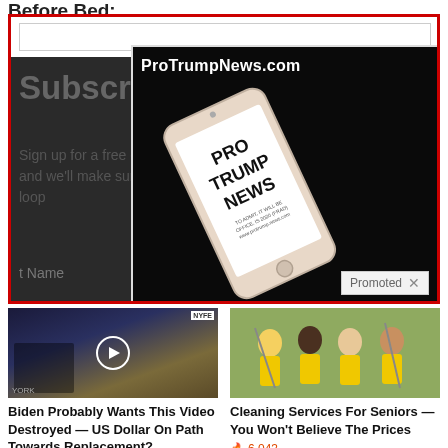Before Bed:
[Figure (screenshot): Red-bordered subscription ad box with ProTrumpNews.com phone graphic overlay, Subscribe heading, sign-up text partially visible, First Name field, and Promoted badge]
[Figure (screenshot): Biden Probably Wants This Video Destroyed — US Dollar On Path Towards Replacement? video thumbnail showing TV studio scene with NYFE ticker, play button overlay]
Biden Probably Wants This Video Destroyed — US Dollar On Path Towards Replacement?
🔥 92,106
[Figure (photo): Four women in yellow uniforms holding cleaning equipment smiling for Cleaning Services For Seniors ad]
Cleaning Services For Seniors — You Won't Believe The Prices
🔥 6,043